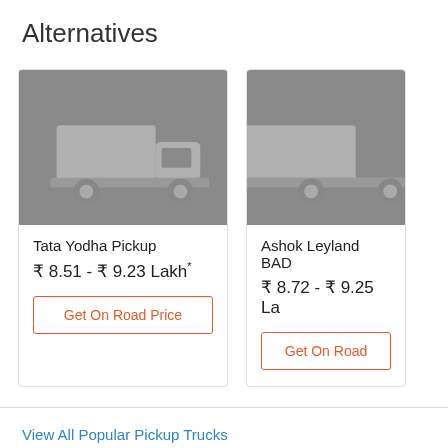Alternatives
[Figure (illustration): Grey placeholder image of a small pickup truck (Tata Yodha Pickup)]
Tata Yodha Pickup
₹ 8.51 - ₹ 9.23 Lakh*
Get On Road Price
[Figure (illustration): Grey placeholder image of a pickup truck (Ashok Leyland BADA DOST) partially visible]
Ashok Leyland BAD...
₹ 8.72 - ₹ 9.25 La...
Get On Road...
View All Popular Pickup Trucks